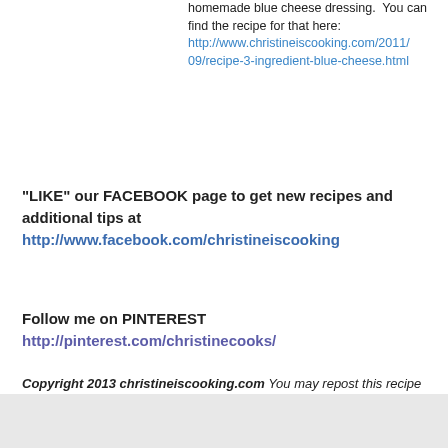homemade blue cheese dressing.  You can find the recipe for that here: http://www.christineiscooking.com/2011/09/recipe-3-ingredient-blue-cheese.html
"LIKE" our FACEBOOK page to get new recipes and additional tips at http://www.facebook.com/christineiscooking
Follow me on PINTEREST http://pinterest.com/christinecooks/
Copyright 2013 christineiscooking.com You may repost this recipe and its directions only by a direct link back to the article on my site. You must be given my express permission for any other use. You can contact me at admin@christineiscooking.com
photo credit: floridagirlindc via photopin cc